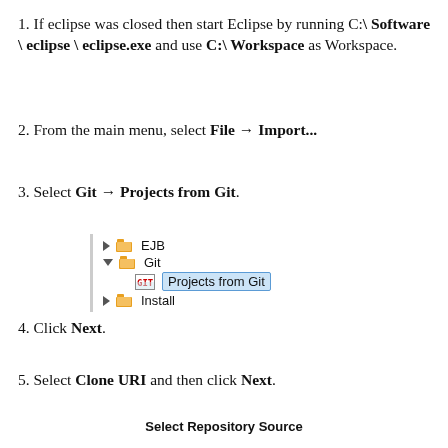1. If eclipse was closed then start Eclipse by running C:\ Software \ eclipse \ eclipse.exe and use C:\ Workspace as Workspace.
2. From the main menu, select File → Import...
3. Select Git → Projects from Git.
[Figure (screenshot): Eclipse import dialog tree showing EJB, Git (expanded with 'Projects from Git' selected/highlighted), and Install items]
4. Click Next.
5. Select Clone URI and then click Next.
Select Repository Source
Select a location of Git Repository.